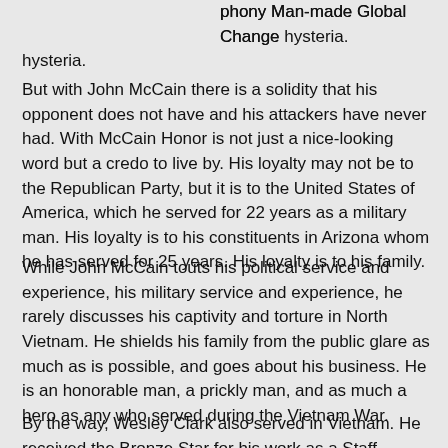phony Man-made Global Change hysteria.
But with John McCain there is a solidity that his opponent does not have and his attackers have never had. With McCain Honor is not just a nice-looking word but a credo to live by. His loyalty may not be to the Republican Party, but it is to the United States of America, which he served for 22 years as a military man. His loyalty is to his constituents in Arizona whom he has served for 25 years. His loyalty is to his family.
While John McCain touts his political service and experience, his military service and experience, he rarely discusses his captivity and torture in North Vietnam. He shields his family from the public glare as much as is possible, and goes about his business. He is an honorable man, a prickly man, and as much a hero as any who served during the Vietnam War.
By the way, Wesley Clark also served in Vietnam. He received the Bronze Star for his work as a Staff Officer, and